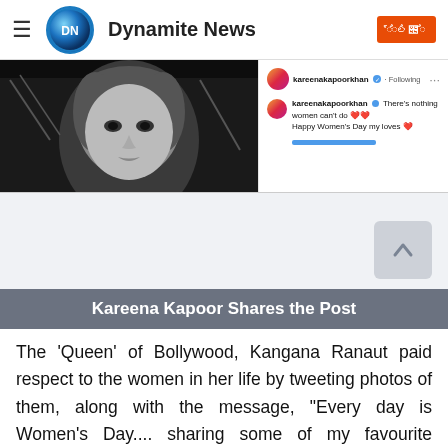Dynamite News
[Figure (screenshot): Left: black and white photo of a woman (Kareena Kapoor). Right: Instagram post screenshot from kareenakapoorkhan with text 'There's nothing women can't do ❤️❤️ Happy Women's Day my loves ❤️']
Kareena Kapoor Shares the Post
The 'Queen' of Bollywood, Kangana Ranaut paid respect to the women in her life by tweeting photos of them, along with the message, "Every day is Women's Day.... sharing some of my favourite moments with my